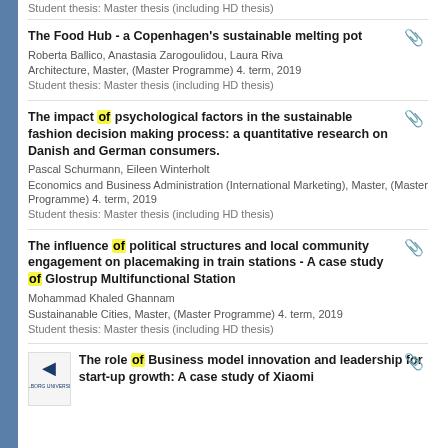Student thesis: Master thesis (including HD thesis)
The Food Hub - a Copenhagen's sustainable melting pot
Roberta Ballico, Anastasia Zarogoulidou, Laura Riva
Architecture, Master, (Master Programme) 4. term, 2019
Student thesis: Master thesis (including HD thesis)
The impact of psychological factors in the sustainable fashion decision making process: a quantitative research on Danish and German consumers.
Pascal Schurmann, Eileen Winterholt
Economics and Business Administration (International Marketing), Master, (Master Programme) 4. term, 2019
Student thesis: Master thesis (including HD thesis)
The influence of political structures and local community engagement on placemaking in train stations - A case study of Glostrup Multifunctional Station
Mohammad Khaled Ghannam
Sustainanable Cities, Master, (Master Programme) 4. term, 2019
Student thesis: Master thesis (including HD thesis)
The role of Business model innovation and leadership for start-up growth: A case study of Xiaomi